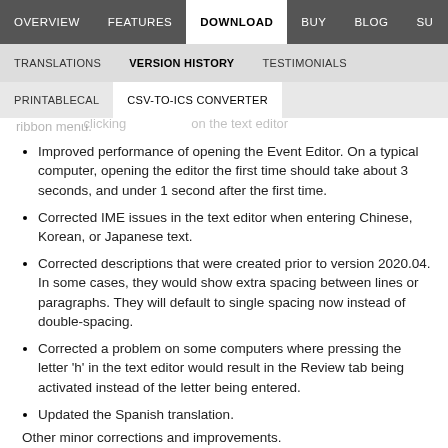OVERVIEW | FEATURES | DOWNLOAD | BUY | BLOG | SU...
TRANSLATIONS | VERSION HISTORY | TESTIMONIALS
PRINTABLECAL | CSV-TO-ICS CONVERTER
style, and color used by the formatted text editor for descriptions and notes. This option can be accessed via the XOpenCalendarFormCommand...
Added the ability to save descriptions and notes as PDF clicking... on the text editor ribbon menu.
Improved performance of opening the Event Editor. On a typical computer, opening the editor the first time should take about 3 seconds, and under 1 second after the first time.
Corrected IME issues in the text editor when entering Chinese, Korean, or Japanese text.
Corrected descriptions that were created prior to version 2020.04. In some cases, they would show extra spacing between lines or paragraphs. They will default to single spacing now instead of double-spacing.
Corrected a problem on some computers where pressing the letter 'h' in the text editor would result in the Review tab being activated instead of the letter being entered.
Updated the Spanish translation.
Other minor corrections and improvements.